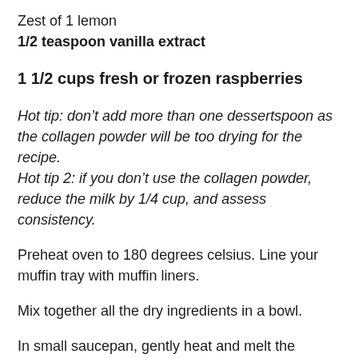Zest of 1 lemon
1/2 teaspoon vanilla extract
1 1/2 cups fresh or frozen raspberries
Hot tip: don't add more than one dessertspoon as the collagen powder will be too drying for the recipe. Hot tip 2: if you don't use the collagen powder, reduce the milk by 1/4 cup, and assess consistency.
Preheat oven to 180 degrees celsius. Line your muffin tray with muffin liners.
Mix together all the dry ingredients in a bowl.
In small saucepan, gently heat and melt the coconut oil